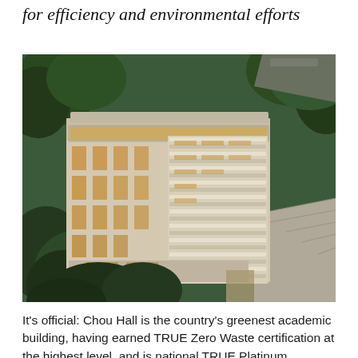for efficiency and environmental efforts
[Figure (photo): Aerial view of Chou Hall, a modern multi-story academic building surrounded by trees, photographed at dusk with interior lights glowing through large glass facades and white horizontal sunshade fins on the exterior.]
It's official: Chou Hall is the country's greenest academic building, having earned TRUE Zero Waste certification at the highest level, and is national TRUE Platinum